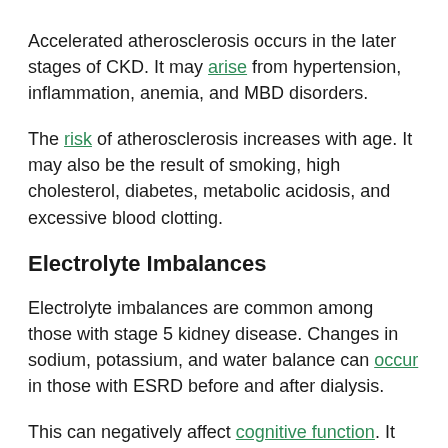Accelerated atherosclerosis occurs in the later stages of CKD. It may arise from hypertension, inflammation, anemia, and MBD disorders.
The risk of atherosclerosis increases with age. It may also be the result of smoking, high cholesterol, diabetes, metabolic acidosis, and excessive blood clotting.
Electrolyte Imbalances
Electrolyte imbalances are common among those with stage 5 kidney disease. Changes in sodium, potassium, and water balance can occur in those with ESRD before and after dialysis.
This can negatively affect cognitive function. It also increases uremia levels.